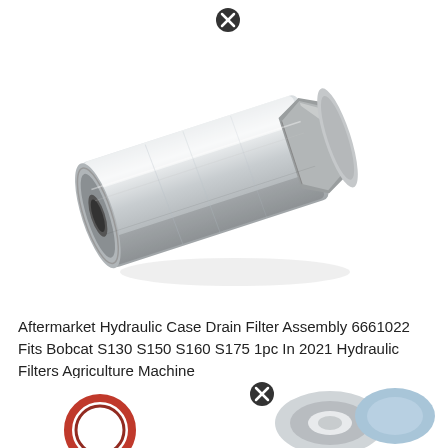[Figure (photo): Aftermarket hydraulic case drain filter assembly 6661022 - a cylindrical metal part with hexagonal nut on one end and threaded bore on the other, silver/chrome finish, photographed at an angle on white background. Has a close/delete button overlay in the upper area.]
Aftermarket Hydraulic Case Drain Filter Assembly 6661022 Fits Bobcat S130 S150 S160 S175 1pc In 2021 Hydraulic Filters Agriculture Machine
[Figure (photo): Partial view of another hydraulic part - appears to be seals/O-rings and a metal component, visible at the bottom of the page. Has a close/delete button overlay.]